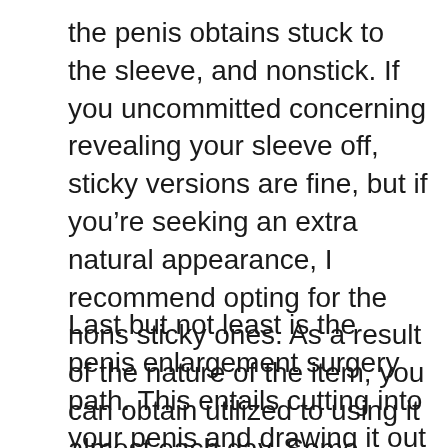the penis obtains stuck to the sleeve, and nonstick. If you uncommitted concerning revealing your sleeve off, sticky versions are fine, but if you're seeking an extra natural appearance, I recommend opting for the nons sticky ones. As a result of the nature of the item, you can obtain utilized to using it almost each day. Some people report that they can also go with hrs each time without any discomfort. Certainly, the option is truly up to you, and also what is more vital to you: boosting your sex-related stamina or feeling good regarding your member?
Last but not least is the penis enlargement surgery path. This entails cutting into your penis and drawing it out by the origin, allegedly raising the penis in length and also